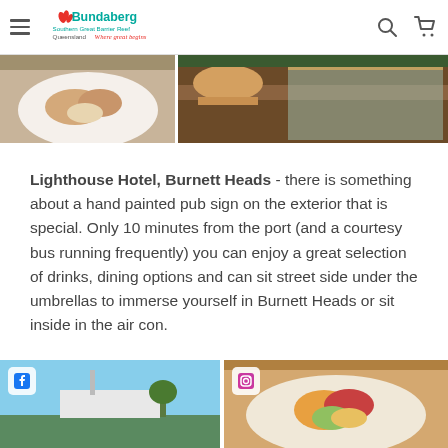Bundaberg Southern Great Barrier Reef Queensland Where great begins
[Figure (photo): Two food/restaurant photos cropped at top: left shows a plate of food, right shows a food display counter with wooden elements]
Lighthouse Hotel, Burnett Heads - there is something about a hand painted pub sign on the exterior that is special. Only 10 minutes from the port (and a courtesy bus running frequently) you can enjoy a great selection of drinks, dining options and can sit street side under the umbrellas to immerse yourself in Burnett Heads or sit inside in the air con.
[Figure (photo): Two social media image thumbnails: left with Facebook icon showing a boat/harbour scene, right with Instagram icon showing a plate of food]